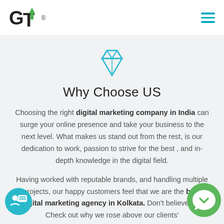GT® [logo with hamburger menu]
[Figure (illustration): Teal/cyan diamond gem icon centered above heading]
Why Choose US
Choosing the right digital marketing company in India can surge your online presence and take your business to the next level. What makes us stand out from the rest, is our dedication to work, passion to strive for the best , and in-depth knowledge in the digital field.
Having worked with reputable brands, and handling multiple projects, our happy customers feel that we are the best digital marketing agency in Kolkata. Don't believe us? Check out why we rose above our clients'
[Figure (illustration): Green WhatsApp-style circular chat icon in bottom-right corner]
[Figure (illustration): Teal circular chat/person icon in bottom-left corner]